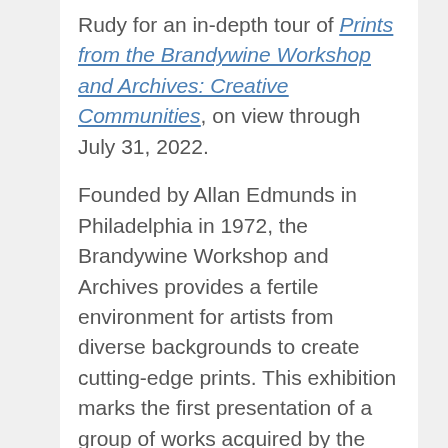Rudy for an in-depth tour of Prints from the Brandywine Workshop and Archives: Creative Communities, on view through July 31, 2022.
Founded by Allan Edmunds in Philadelphia in 1972, the Brandywine Workshop and Archives provides a fertile environment for artists from diverse backgrounds to create cutting-edge prints. This exhibition marks the first presentation of a group of works acquired by the Harvard...
Screenings at Harvard Film